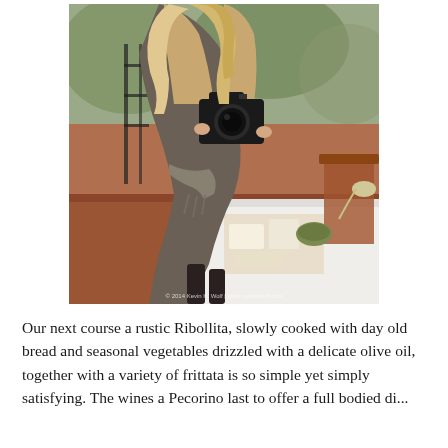[Figure (photo): A blonde woman leaning over an outdoor table photographing food with a DSLR camera. She is wearing a grey sweater dress with fringe scarf. A white tablecloth-covered table with cheese and food items is in the foreground. A photo credit watermark reads '© 2014 Kevin K. Wolf | www.mysticwolf.com' in the lower right.]
Our next course a rustic Ribollita, slowly cooked with day old bread and seasonal vegetables drizzled with a delicate olive oil, together with a variety of frittata is so simple yet simply satisfying. The wines a Pecorino last to offer a full bodied...